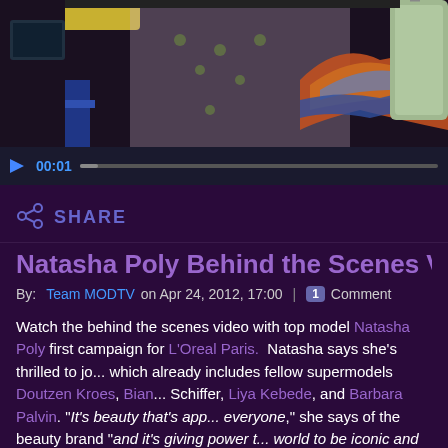[Figure (screenshot): Video player showing behind the scenes fashion shoot with models and colorful background. Controls show play button, timecode 00:01, and progress bar.]
SHARE
Natasha Poly Behind the Scenes Video L'O...
By: Team MODTV on Apr 24, 2012, 17:00 | 1 Comment
Watch the behind the scenes video with top model Natasha Poly first campaign for L'Oreal Paris. Natasha says she's thrilled to jo... which already includes fellow supermodels Doutzen Kroes, Bian... Schiffer, Liya Kebede, and Barbara Palvin. "It's beauty that's app... everyone," she says of the beauty brand "and it's giving power t... world to be iconic and powerful and confident."
We've followed this 26 year old Russian-born beauty since the s... and captured Natasha backstage at every top fashion show from...  She's appeared in several global ad campaigns for some of the... fashion but in this video mistress is Natasha of a new brand f...